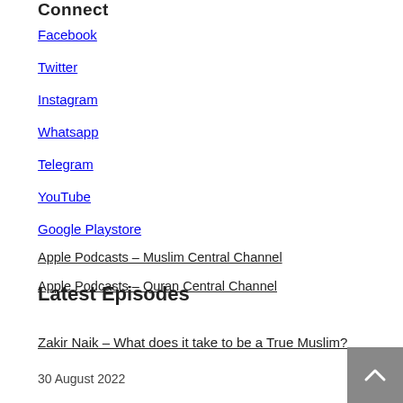Connect
Facebook
Twitter
Instagram
Whatsapp
Telegram
YouTube
Google Playstore
Apple Podcasts – Muslim Central Channel
Apple Podcasts – Quran Central Channel
Latest Episodes
Zakir Naik – What does it take to be a True Muslim?
30 August 2022